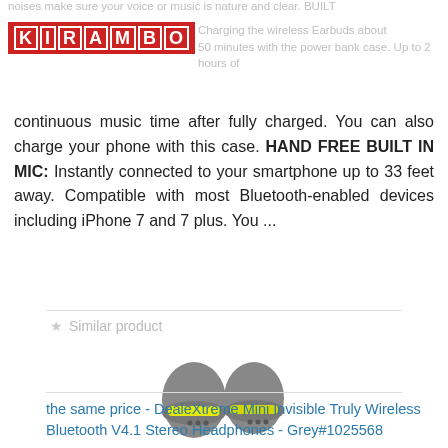noises make sure your voice or music is nature and clear. BUILT
KIRAMBO  Charging the wireless Earbuds about 50 minutes with the power bank case. Up to 2 hours of
continuous music time after fully charged. You can also charge your phone with this case. HAND FREE BUILT IN MIC: Instantly connected to your smartphone up to 33 feet away. Compatible with most Bluetooth-enabled devices including iPhone 7 and 7 plus. You ...
★ Similar product
[Figure (photo): Two grey wireless earbuds with yellow accent stripe]
the same price - DealeXtreme Mini Invisible Truly Wireless Bluetooth V4.1 Stereo Headphones - Grey#1025568
[Figure (photo): Two white/grey wireless earbuds with orange accent stripe]